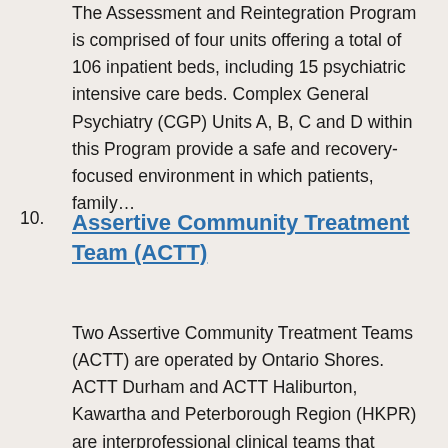The Assessment and Reintegration Program is comprised of four units offering a total of 106 inpatient beds, including 15 psychiatric intensive care beds. Complex General Psychiatry (CGP) Units A, B, C and D within this Program provide a safe and recovery-focused environment in which patients, family…
10. Assertive Community Treatment Team (ACTT)
Two Assertive Community Treatment Teams (ACTT) are operated by Ontario Shores. ACTT Durham and ACTT Haliburton, Kawartha and Peterborough Region (HKPR) are interprofessional clinical teams that provide treatment, recovery and support services to